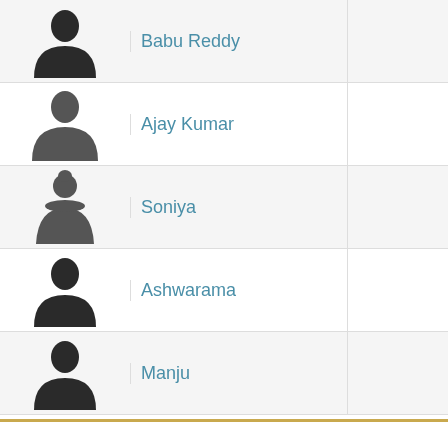|  | Name |  |
| --- | --- | --- |
| [avatar] | Babu Reddy |  |
| [avatar] | Ajay Kumar |  |
| [avatar] | Soniya |  |
| [avatar] | Ashwarama |  |
| [avatar] | Manju |  |
[ Top ↑ ]
Movie Details